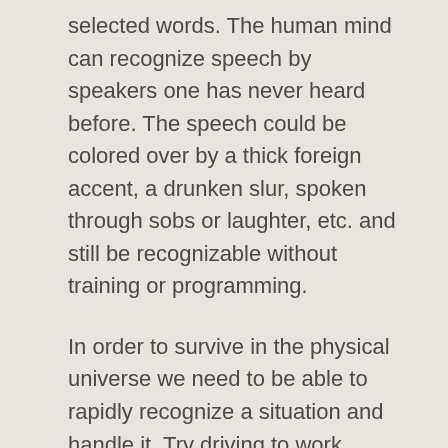selected words. The human mind can recognize speech by speakers one has never heard before. The speech could be colored over by a thick foreign accent, a drunken slur, spoken through sobs or laughter, etc. and still be recognizable without training or programming.
In order to survive in the physical universe we need to be able to rapidly recognize a situation and handle it. Try driving to work without this ability!
However, in dealing with realities from higher worlds, especially the mental plane and above, recognizing patterns and assigning meanings and significances does not serve us well. As spiritual beings we have the innate capability of direct experience, but our existence on the physical plane has trained us to rely exclusively